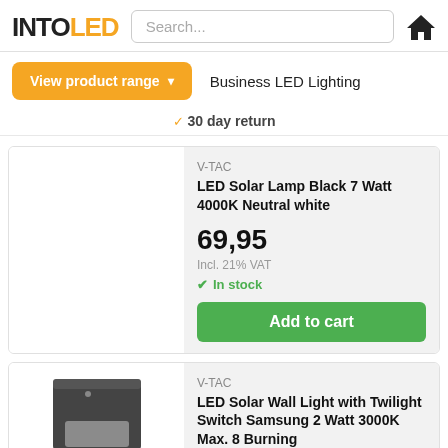[Figure (logo): INTOLED logo with INTO in black and LED in orange]
Search...
[Figure (illustration): Home icon (house silhouette in black)]
View product range ▾
Business LED Lighting
30 day return
[Figure (photo): Product image area (blank/white) for LED Solar Lamp Black 7 Watt]
V-TAC
LED Solar Lamp Black 7 Watt 4000K Neutral white
69,95
Incl. 21% VAT
In stock
Add to cart
[Figure (photo): Product image of LED Solar Wall Light (dark square fixture)]
V-TAC
LED Solar Wall Light with Twilight Switch Samsung 2 Watt 3000K Max. 8 Burning